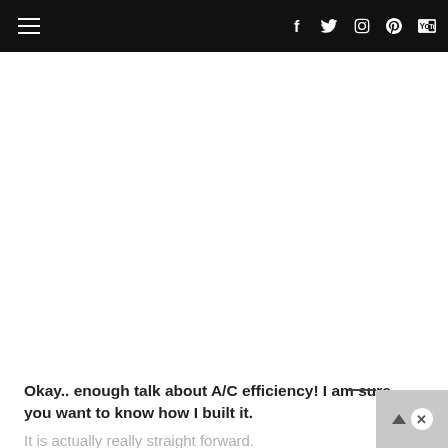Navigation bar with hamburger menu and social icons (Facebook, Twitter, Instagram, Pinterest, YouTube)
Okay.. enough talk about A/C efficiency! I am sure you want to know how I built it.
It is actually really straight forward.